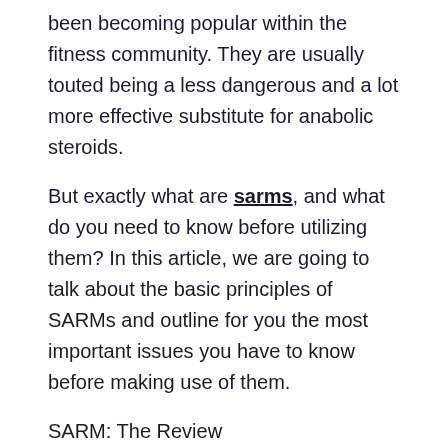been becoming popular within the fitness community. They are usually touted being a less dangerous and a lot more effective substitute for anabolic steroids.
But exactly what are sarms, and what do you need to know before utilizing them? In this article, we are going to talk about the basic principles of SARMs and outline for you the most important issues you have to know before making use of them.
SARM: The Review
SARMs certainly are a school of medicine that selectively objective androgen receptors. This means that they preferentially bind to and trigger the receptors that are responsible for muscle mass growth,